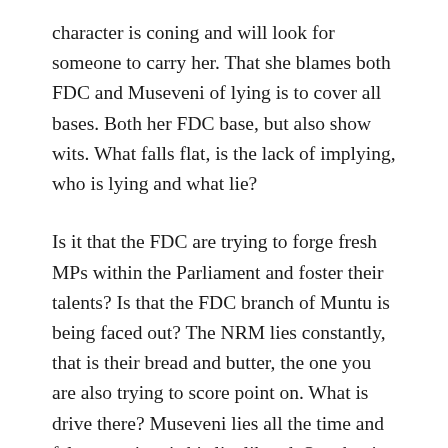character is coning and will look for someone to carry her. That she blames both FDC and Museveni of lying is to cover all bases. Both her FDC base, but also show wits. What falls flat, is the lack of implying, who is lying and what lie?
Is it that the FDC are trying to forge fresh MPs within the Parliament and foster their talents? Is that the FDC branch of Muntu is being faced out? The NRM lies constantly, that is their bread and butter, the one you are also trying to score point on. What is drive there? Museveni lies all the time and false promises is his livelihood. So what is your point there?
Nabilah is electioneering and trying to finesse herself